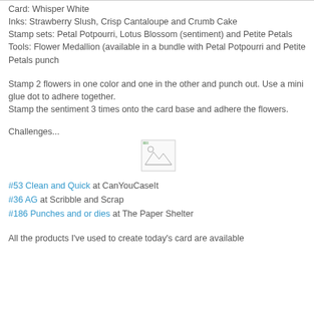Card: Whisper White
Inks: Strawberry Slush, Crisp Cantaloupe and Crumb Cake
Stamp sets: Petal Potpourri, Lotus Blossom (sentiment) and Petite Petals
Tools: Flower Medallion (available in a bundle with Petal Potpourri and Petite Petals punch
Stamp 2 flowers in one color and one in the other and punch out. Use a mini glue dot to adhere together.
Stamp the sentiment 3 times onto the card base and adhere the flowers.
Challenges...
[Figure (other): Broken/missing image placeholder]
#53 Clean and Quick at CanYouCaseIt
#36 AG at Scribble and Scrap
#186 Punches and or dies at The Paper Shelter
All the products I've used to create today's card are available